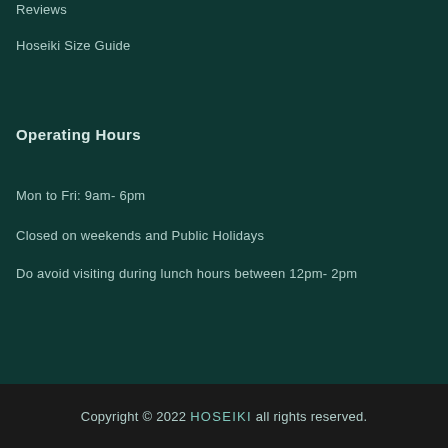Reviews
Hoseiki Size Guide
Operating Hours
Mon to Fri: 9am- 6pm
Closed on weekends and Public Holidays
Do avoid visiting during lunch hours between 12pm- 2pm
Copyright © 2022 HOSEIKI all rights reserved.